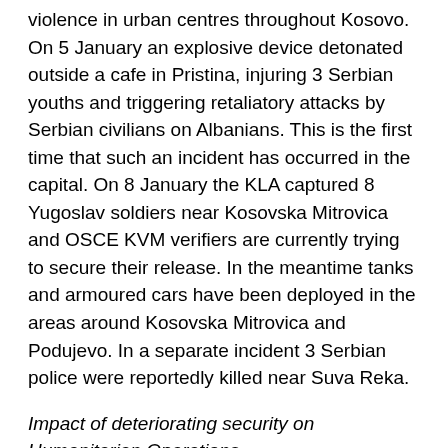violence in urban centres throughout Kosovo. On 5 January an explosive device detonated outside a cafe in Pristina, injuring 3 Serbian youths and triggering retaliatory attacks by Serbian civilians on Albanians. This is the first time that such an incident has occurred in the capital. On 8 January the KLA captured 8 Yugoslav soldiers near Kosovska Mitrovica and OSCE KVM verifiers are currently trying to secure their release. In the meantime tanks and armoured cars have been deployed in the areas around Kosovska Mitrovica and Podujevo. In a separate incident 3 Serbian police were reportedly killed near Suva Reka.
Impact of deteriorating security on Humanitarian Operations
5. The deteriorating security environment is posing increased threats to the operational capability of humanitarian organisations. In one development a vehicle operated by Norwegian Church Aid was targeted by an